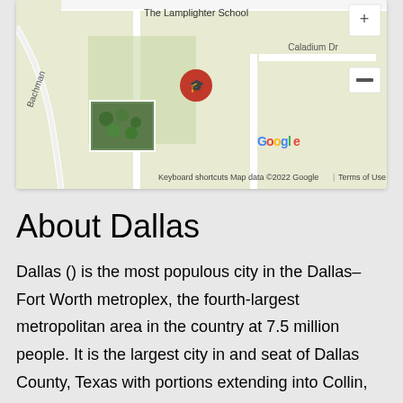[Figure (map): Google Maps screenshot showing The Lamplighter School area in Dallas, TX with Caladium Dr label, a location pin with graduation cap icon, a small aerial photo thumbnail in the lower left, Google logo, keyboard shortcuts link, map data copyright notice, and zoom controls on the right side.]
About Dallas
Dallas () is the most populous city in the Dallas–Fort Worth metroplex, the fourth-largest metropolitan area in the country at 7.5 million people. It is the largest city in and seat of Dallas County, Texas with portions extending into Collin, Denton, Kaufman and Rockwall counties. With a 2020 census population of 1,304,379, it is the ninth most-populous city in the U.S. and the third-largest in Texas after Houston and San Antonio